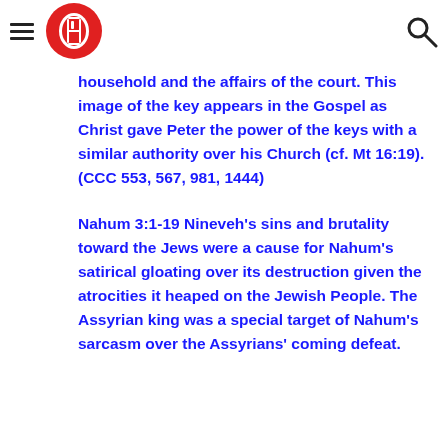[Navigation header with hamburger menu, Bible logo, and search icon]
household and the affairs of the court. This image of the key appears in the Gospel as Christ gave Peter the power of the keys with a similar authority over his Church (cf. Mt 16:19). (CCC 553, 567, 981, 1444)
Nahum 3:1-19 Nineveh's sins and brutality toward the Jews were a cause for Nahum's satirical gloating over its destruction given the atrocities it heaped on the Jewish People. The Assyrian king was a special target of Nahum's sarcasm over the Assyrians' coming defeat.